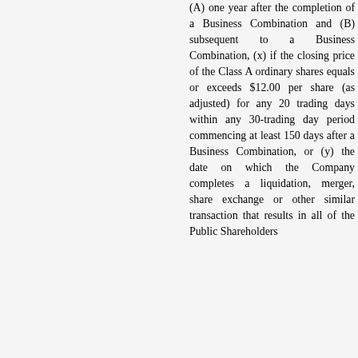(A) one year after the completion of a Business Combination and (B) subsequent to a Business Combination, (x) if the closing price of the Class A ordinary shares equals or exceeds $12.00 per share (as adjusted) for any 20 trading days within any 30-trading day period commencing at least 150 days after a Business Combination, or (y) the date on which the Company completes a liquidation, merger, share exchange or other similar transaction that results in all of the Public Shareholders